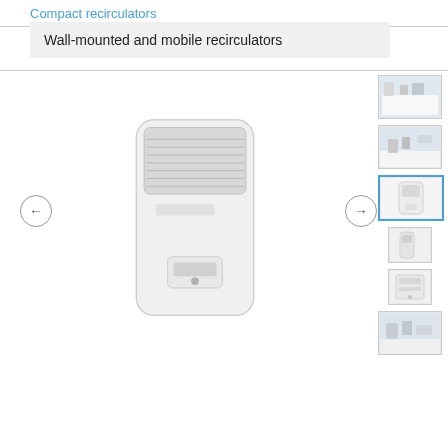Compact recirculators
Wall-mounted and mobile recirculators
[Figure (photo): Main product image of a white wall-mounted recirculator device with ventilation grille]
[Figure (photo): Thumbnail 1: room interior with recirculator on wall]
[Figure (photo): Thumbnail 2: room with chairs and recirculator]
[Figure (photo): Thumbnail 3: white recirculator unit, selected/active]
[Figure (photo): Thumbnail 4: side/small view of recirculator]
[Figure (photo): Thumbnail 5: front panel close-up of recirculator]
[Figure (photo): Thumbnail 6: room scene with recirculator installed]